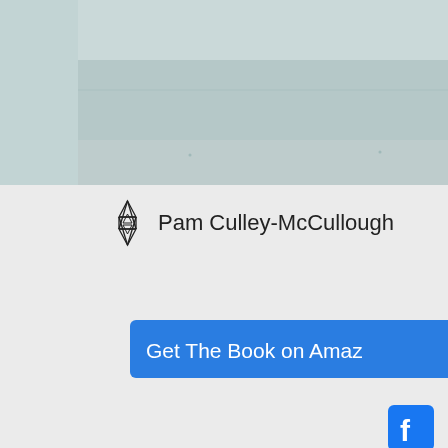[Figure (photo): Aerial or distant photo of calm sea/ocean water in muted blue-green tones]
[Figure (logo): Geometric star/merkaba symbol logo next to author name Pam Culley-McCullough]
Pam Culley-McCullough
[Figure (other): Blue button labeled 'Get The Book on Amazon' with a dark circular scroll-to-top arrow button overlapping it on the right]
[Figure (logo): Facebook social media icon (white F on blue square)]